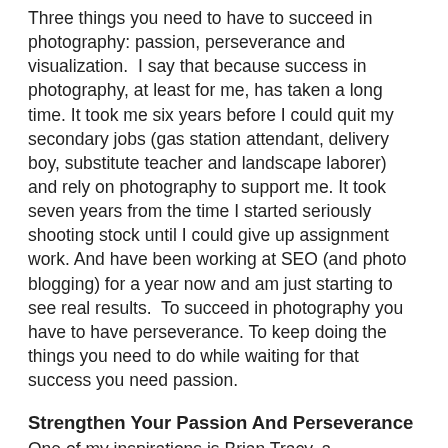Three things you need to have to succeed in photography: passion, perseverance and visualization.  I say that because success in photography, at least for me, has taken a long time. It took me six years before I could quit my secondary jobs (gas station attendant, delivery boy, substitute teacher and landscape laborer) and rely on photography to support me. It took seven years from the time I started seriously shooting stock until I could give up assignment work. And have been working at SEO (and photo blogging) for a year now and am just starting to see real results.  To succeed in photography you have to have perseverance. To keep doing the things you need to do while waiting for that success you need passion.
Strengthen Your Passion And Perseverance
One of my inspirations is Brian Tracy, a motivational speaker and coach. Brian reports that the vast majority of people quit just before success is finally about to arrive. To even set out to become a professional photographer you have to have some passion.  But what can you do to strengthen that passion, to increase that essential perseverance, and to help motivate yourself to actually do all those little things that